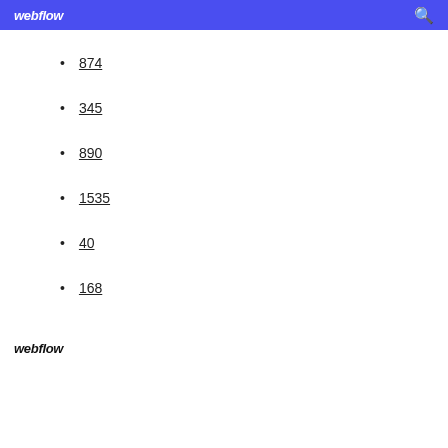webflow
874
345
890
1535
40
168
webflow